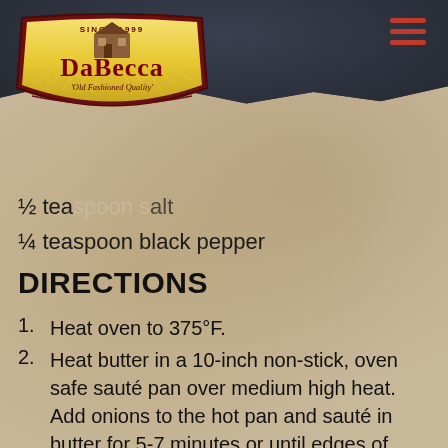[Figure (logo): DaBecca logo with golden shield shape, barn illustration, red text reading DABECCA, tagline 'Old Fashioned Quality', dark background header band with torn edge]
½ teaspoon salt
¼ teaspoon black pepper
DIRECTIONS
1. Heat oven to 375°F.
2. Heat butter in a 10-inch non-stick, oven safe sauté pan over medium high heat. Add onions to the hot pan and sauté in butter for 5-7 minutes or until edges of onions just start to brown. Reduce the heat to medium low and sprinkle with a ¼ tsp kosher salt, garlic and fresh thyme leave. Let cook for 25-30 minutes, stirring occasionally. If the onions begin to crisp, add a few tablespoons of